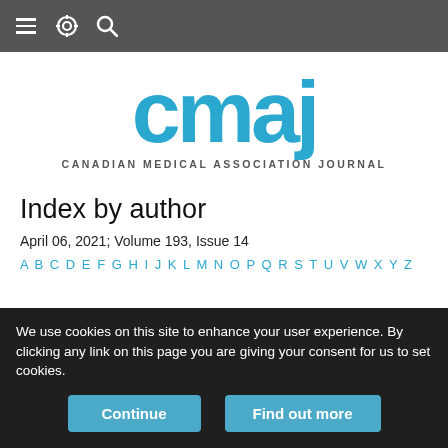Navigation bar with menu, settings, and search icons
[Figure (logo): CMAJ - Canadian Medical Association Journal logo in teal/blue color]
Index by author
April 06, 2021; Volume 193, Issue 14
A B C D E F G H I J K L M N O P Q R S T U V W X Y Z
We use cookies on this site to enhance your user experience. By clicking any link on this page you are giving your consent for us to set cookies.
Continue    Find out more